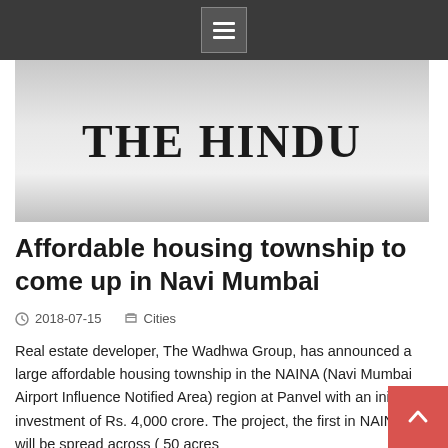[Figure (logo): The Hindu newspaper logo on a silver/gray gradient background]
Affordable housing township to come up in Navi Mumbai
2018-07-15   Cities
Real estate developer, The Wadhwa Group, has announced a large affordable housing township in the NAINA (Navi Mumbai Airport Influence Notified Area) region at Panvel with an initial investment of Rs. 4,000 crore. The project, the first in NAINA, will be spread across ( 50 acres